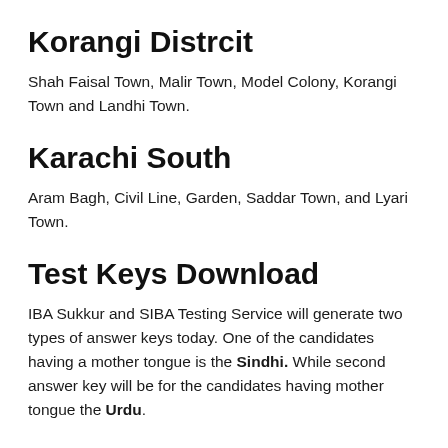Korangi Distrcit
Shah Faisal Town, Malir Town, Model Colony, Korangi Town and Landhi Town.
Karachi South
Aram Bagh, Civil Line, Garden, Saddar Town, and Lyari Town.
Test Keys Download
IBA Sukkur and SIBA Testing Service will generate two types of answer keys today. One of the candidates having a mother tongue is the Sindhi. While second answer key will be for the candidates having mother tongue the Urdu.